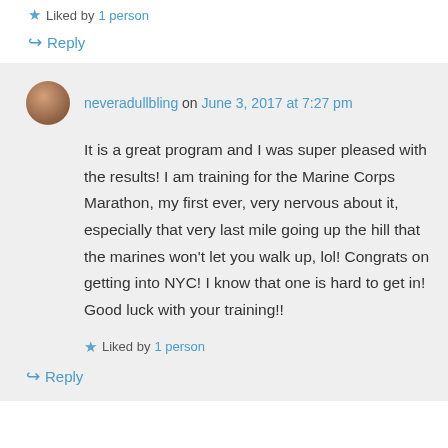★ Liked by 1 person
↪ Reply
neveradullbling on June 3, 2017 at 7:27 pm
It is a great program and I was super pleased with the results! I am training for the Marine Corps Marathon, my first ever, very nervous about it, especially that very last mile going up the hill that the marines won't let you walk up, lol! Congrats on getting into NYC! I know that one is hard to get in! Good luck with your training!!
★ Liked by 1 person
↪ Reply